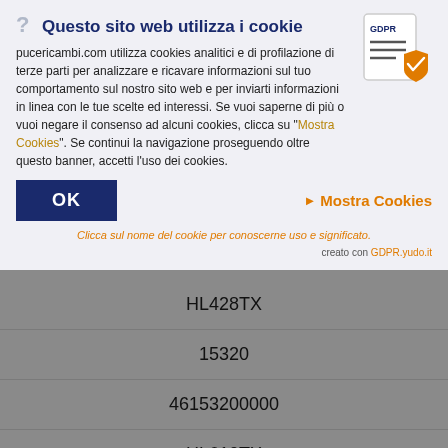Questo sito web utilizza i cookie
pucericambi.com utilizza cookies analitici e di profilazione di terze parti per analizzare e ricavare informazioni sul tuo comportamento sul nostro sito web e per inviarti informazioni in linea con le tue scelte ed interessi. Se vuoi saperne di più o vuoi negare il consenso ad alcuni cookies, clicca su "Mostra Cookies". Se continui la navigazione proseguendo oltre questo banner, accetti l'uso dei cookies.
[Figure (illustration): GDPR document icon with shield]
OK
▶ Mostra Cookies
Clicca sul nome del cookie per conoscerne uso e significato.
creato con GDPR.yudo.it
HL428TX
15320
46153200000
HL610TX